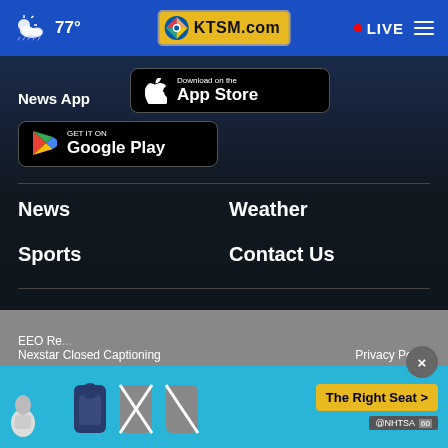77° KTSM.com • LIVE
News App
[Figure (screenshot): Download on the App Store button (black, rounded rectangle with Apple logo)]
[Figure (screenshot): GET IT ON Google Play button (black, rounded rectangle with Google Play logo)]
News
Weather
Sports
Contact Us
EEO Re...   Nexstar Closed Captioning   Privacy Policy
[Figure (screenshot): Advertisement banner: car seat safety ad with NHTSA branding and 'The Right Seat >' CTA button. Close (×) button visible top right.]